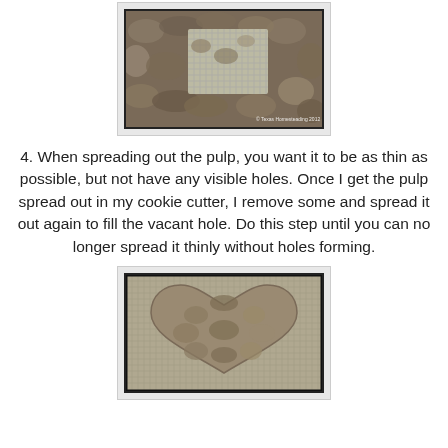[Figure (photo): Top-down photo of a baking tray with wet paper pulp and a metal mesh screen/cookie cutter visible, showing the paper-making process. Watermark reads '© Texas Homesteading 2012'.]
4. When spreading out the pulp, you want it to be as thin as possible, but not have any visible holes. Once I get the pulp spread out in my cookie cutter, I remove some and spread it out again to fill the vacant hole. Do this step until you can no longer spread it thinly without holes forming.
[Figure (photo): Photo of a heart-shaped paper pulp form drying on a metal mesh screen, showing the wet pulp shaped into a heart cookie-cutter form.]